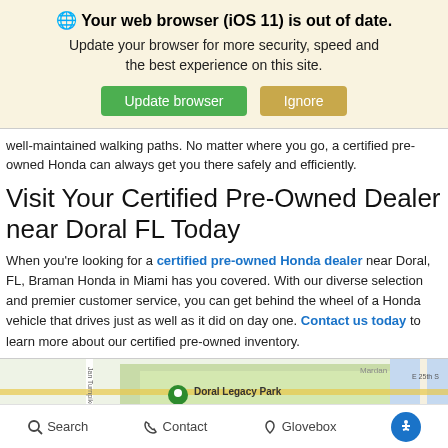[Figure (screenshot): Browser out-of-date warning banner with globe icon, bold title 'Your web browser (iOS 11) is out of date.', subtitle 'Update your browser for more security, speed and the best experience on this site.', and two buttons: 'Update browser' (green) and 'Ignore' (tan/gold).]
well-maintained walking paths. No matter where you go, a certified pre-owned Honda can always get you there safely and efficiently.
Visit Your Certified Pre-Owned Dealer near Doral FL Today
When you're looking for a certified pre-owned Honda dealer near Doral, FL, Braman Honda in Miami has you covered. With our diverse selection and premier customer service, you can get behind the wheel of a Honda vehicle that drives just as well as it did on day one. Contact us today to learn more about our certified pre-owned inventory.
[Figure (map): Map showing Doral Legacy Park area with streets including NW 74th St, Jan Turnpike, and Medley area. Green location pin on Doral Legacy Park.]
Search   Contact   Glovebox   [accessibility icon]